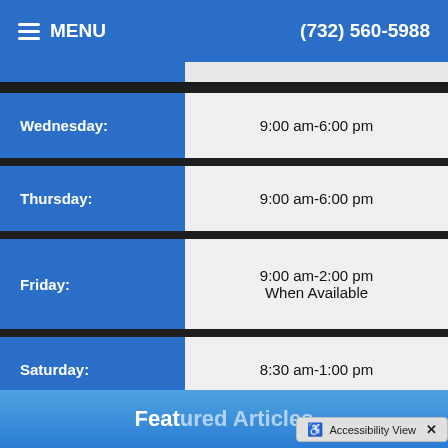≡ MENU   (732) 560-5988
| Day | Hours |
| --- | --- |
| Wednesday: | 9:00 am-6:00 pm |
| Thursday: | 9:00 am-6:00 pm |
| Friday: | 9:00 am-2:00 pm
When Available |
| Saturday: | 8:30 am-1:00 pm |
| Sunday: | Closed |
Featured Articles